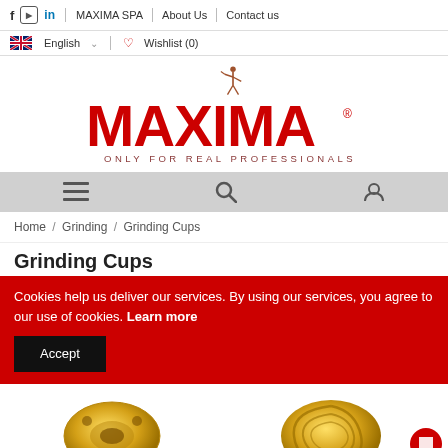f  in  MAXIMA SPA | About Us | Contact us
English  Wishlist (0)
[Figure (logo): MAXIMA SPA logo — red block letters MAXIMA with a discus thrower figure above, tagline ONLY FOR REAL PROFESSIONALS]
Navigation bar with hamburger menu, search, and profile icons
Home / Grinding / Grinding Cups
Grinding Cups
Cookies help us deliver our services. By using our services, you agree to our use of cookies. Learn more
Accept
[Figure (photo): Two grinding cup products — a gold/brass oval grinding cup on the left, and a gold spiral/segmented grinding cup on the right, partially visible]